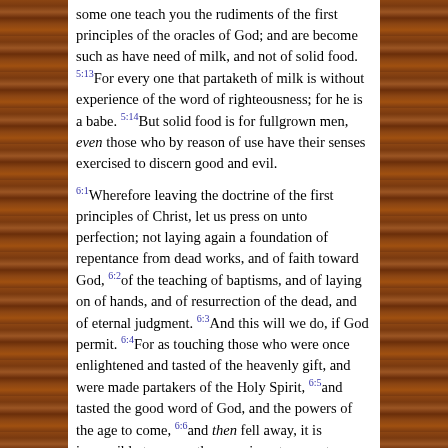some one teach you the rudiments of the first principles of the oracles of God; and are become such as have need of milk, and not of solid food. 5:13For every one that partaketh of milk is without experience of the word of righteousness; for he is a babe. 5:14But solid food is for fullgrown men, even those who by reason of use have their senses exercised to discern good and evil.
6:1Wherefore leaving the doctrine of the first principles of Christ, let us press on unto perfection; not laying again a foundation of repentance from dead works, and of faith toward God, 6:2of the teaching of baptisms, and of laying on of hands, and of resurrection of the dead, and of eternal judgment. 6:3And this will we do, if God permit. 6:4For as touching those who were once enlightened and tasted of the heavenly gift, and were made partakers of the Holy Spirit, 6:5and tasted the good word of God, and the powers of the age to come, 6:6and then fell away, it is impossible to renew them again unto repentance; seeing they crucify to themselves the Son of God afresh, and put him to an open shame. 6:7For the land which hath drunk the rain that cometh oft upon it, and bringeth forth herbs meet for them for whose sake it